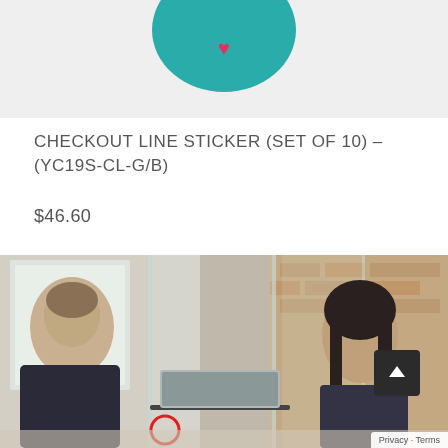[Figure (photo): Partial view of a teal circular sticker product on a light gray background, bottom portion visible]
CHECKOUT LINE STICKER (SET OF 10) – (YC19S-CL-G/B)
$46.60
[Figure (photo): Two people at a checkout counter with a glass sneeze guard/barrier between them; man on left in suit, woman on right smiling, brick wall background, laptop on counter, red circle sticker visible on barrier]
Privacy · Terms